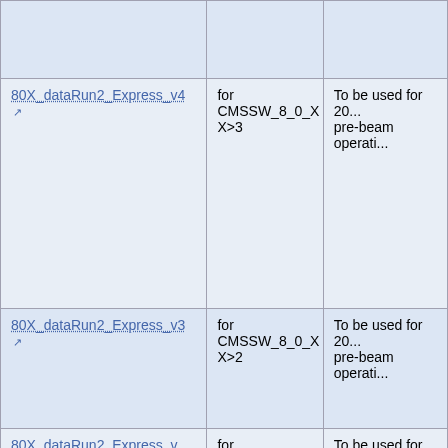| Name | For CMSSW version | Description |
| --- | --- | --- |
|  |  |  |
| 80X_dataRun2_Express_v4 | for CMSSW_8_0_X X>3 | To be used for 20... pre-beam operati... |
| 80X_dataRun2_Express_v3 | for CMSSW_8_0_X X>2 | To be used for 20... pre-beam operati... |
| 80X_dataRun2_Express_v... | for | To be used for 20... |